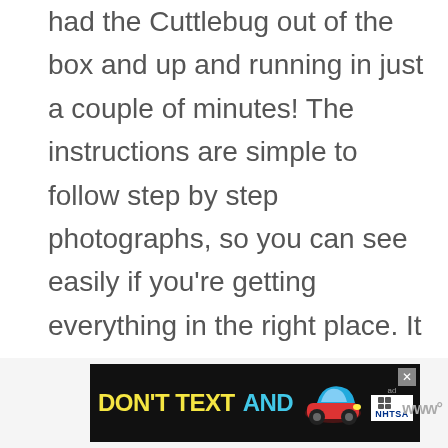had the Cuttlebug out of the box and up and running in just a couple of minutes! The instructions are simple to follow step by step photographs, so you can see easily if you're getting everything in the right place. It didn't take me long to whip together the cute Christmas card you can see above.
[Figure (other): Advertisement banner: DON'T TEXT AND [car emoji] with NHTSA logo and ad label]